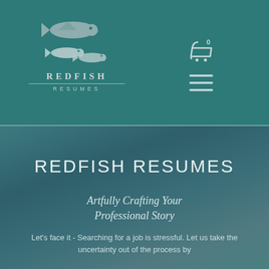[Figure (logo): Redfish Resumes logo with two fish silhouettes (silver/gray) stacked, text REDFISH in bold spaced letters and RESUMES below in smaller spaced letters]
[Figure (other): Shopping cart icon with a 0 badge, white outline style]
[Figure (other): Hamburger menu icon with three horizontal white lines]
REDFISH RESUMES
Artfully Crafting Your Professional Story
Let's face it - Searching for a job is stressful. Let us take the uncertainty out of the process by